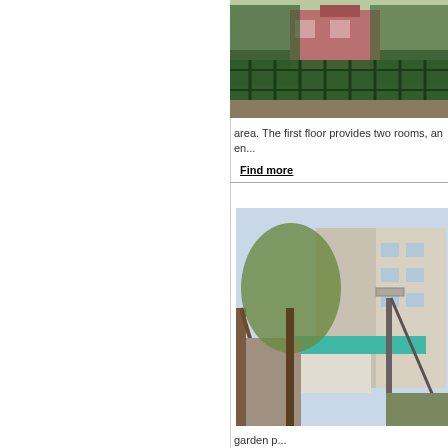[Figure (photo): Exterior photo of a property with a green metal fence/gate in the foreground and a red-brick building in the background, surrounded by vegetation.]
area. The first floor provides two rooms, an en...
Find more
[Figure (photo): Exterior photo of an urban residential area with multi-story apartment buildings, trees, a stairway with metal railing, and a small shop with a turquoise awning.]
garden p...
Find more